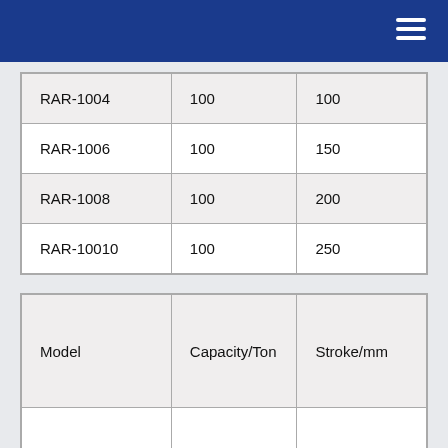| RAR-1004 | 100 | 100 |
| RAR-1006 | 100 | 150 |
| RAR-1008 | 100 | 200 |
| RAR-10010 | 100 | 250 |
| Model | Capacity/Ton | Stroke/mm |
| --- | --- | --- |